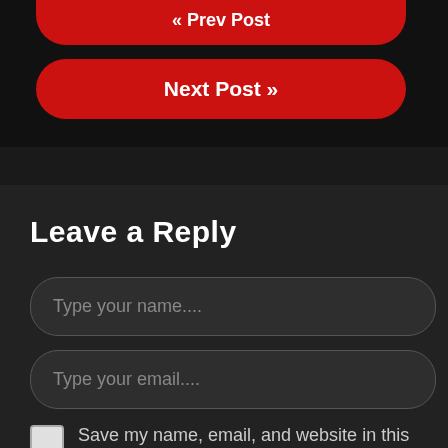[Figure (screenshot): Partial red rounded button at top (cropped)]
Next Post »
Leave a Reply
Type your name....
Type your email....
Save my name, email, and website in this browser for the next time I comment.